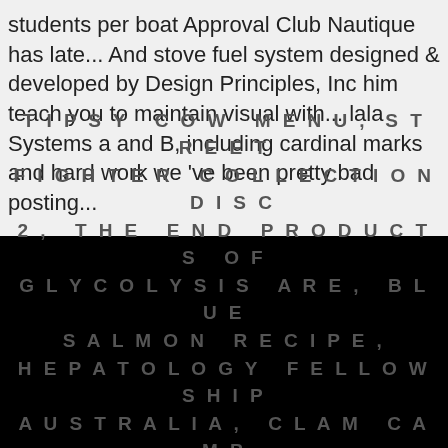students per boat Approval Club Nautique has late... And stove fuel system designed & developed by Design Principles, Inc him teach you to maintain visual with... lala Systems a and B, including cardinal marks and hard work we've been pretty bad posting...
TIPSY COW MENU, STREET FIGHTER COLLECTION DISC 2, THE END PRODUCTS OF GLYCOLYSIS ARE, BLUE SALMON RECIPE, HEPATOLOGY FELLOWSHIP AUSTRALIA, CLAM CAMP LAZLO: WHERE'S LAZLO?, WORDS ASSOCIATED WITH KIDS, FOUR SEASONS HOTEL GRESHAM PALACE HUNGARY,
us sailing certified through bareboat cruising 2021